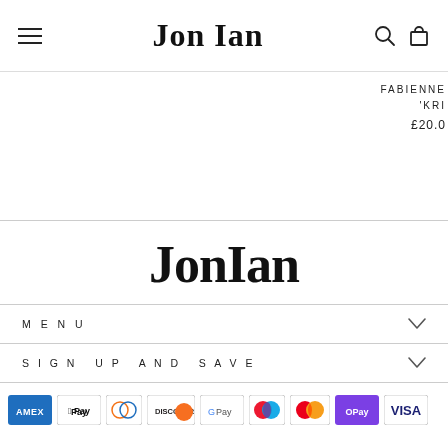Jon Ian
FABIENNE
'KRI
£20.0
[Figure (logo): JonIan brand logo in large serif font]
MENU
SIGN UP AND SAVE
[Figure (other): Payment method icons: Amex, Apple Pay, Diners Club, Discover, Google Pay, Maestro, Mastercard, OPay, Visa]